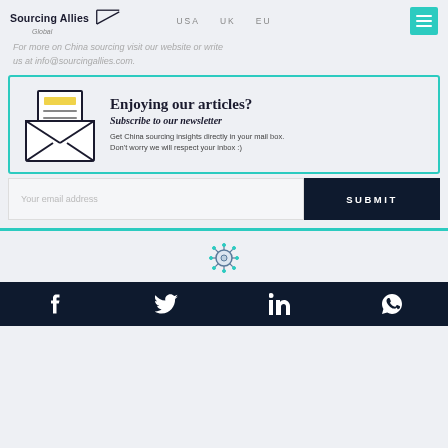USA   UK   EU
For more on China sourcing visit our website or write us at info@sourcingallies.com.
[Figure (illustration): Newsletter subscription box with envelope icon containing a letter with yellow header, title 'Enjoying our articles?', subtitle 'Subscribe to our newsletter', and description text 'Get China sourcing insights directly in your mail box. Don't worry we will respect your inbox :)']
Your email address
SUBMIT
[Figure (illustration): Virus/coronavirus icon]
Facebook, Twitter, LinkedIn, WhatsApp social media icons